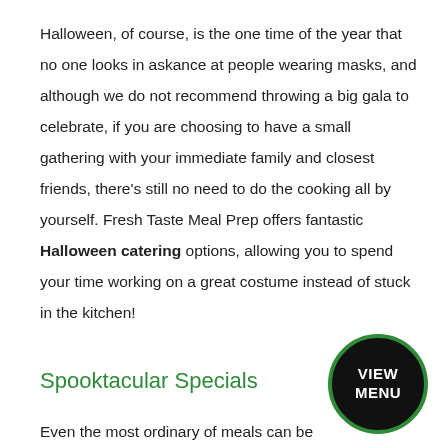Halloween, of course, is the one time of the year that no one looks in askance at people wearing masks, and although we do not recommend throwing a big gala to celebrate, if you are choosing to have a small gathering with your immediate family and closest friends, there's still no need to do the cooking all by yourself. Fresh Taste Meal Prep offers fantastic Halloween catering options, allowing you to spend your time working on a great costume instead of stuck in the kitchen!
Spooktacular Specials
Even the most ordinary of meals can be
[Figure (other): Black circular button with green border containing white bold text 'VIEW MENU']